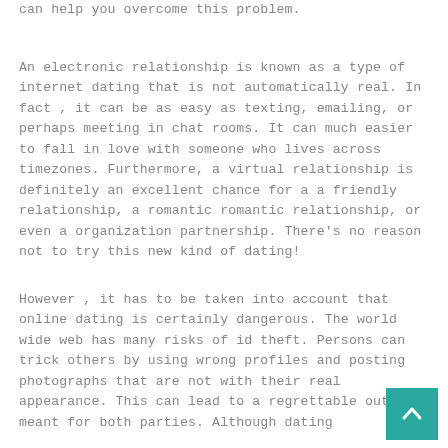can help you overcome this problem.
An electronic relationship is known as a type of internet dating that is not automatically real. In fact , it can be as easy as texting, emailing, or perhaps meeting in chat rooms. It can much easier to fall in love with someone who lives across timezones. Furthermore, a virtual relationship is definitely an excellent chance for a a friendly relationship, a romantic romantic relationship, or even a organization partnership. There's no reason not to try this new kind of dating!
However , it has to be taken into account that online dating is certainly dangerous. The world wide web has many risks of id theft. Persons can trick others by using wrong profiles and posting photographs that are not with their real appearance. This can lead to a regrettable outcome meant for both parties. Although dating